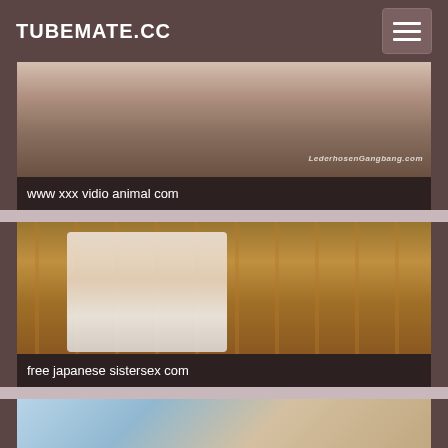TUBEMATE.CC
www xxx vidio animal com
[Figure (photo): Video thumbnail showing close-up image with watermark text LederhosenGangbang.com]
[Figure (photo): Video thumbnail showing a woman on a striped couch in vintage style]
free japanese sistersex com
[Figure (photo): Partial video thumbnail at bottom of page, light blue background]